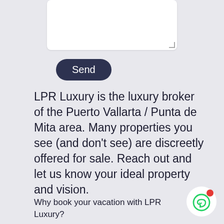[Figure (screenshot): White textarea input box with resize handle at bottom right]
Send
LPR Luxury is the luxury broker of the Puerto Vallarta / Punta de Mita area. Many properties you see (and don't see) are discreetly offered for sale. Reach out and let us know your ideal property and vision.
Why book your vacation with LPR Luxury?
[Figure (illustration): WhatsApp icon button in white circle with red notification dot]